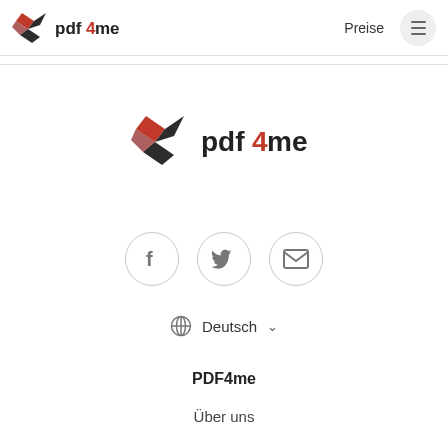[Figure (logo): pdf4me logo in header — red geometric star/kite icon on the left, text 'pdf4me' with '4' in red and rest in dark/black]
Preise
[Figure (illustration): Hamburger menu button — three horizontal lines icon inside a light grey circle]
[Figure (logo): pdf4me logo centered — larger version of the red geometric star/kite icon with 'pdf4me' text, '4' in red]
[Figure (infographic): Three social media icon buttons in grey outlined circles: Facebook 'f', Twitter bird, and Email envelope icons]
Deutsch  ∨
PDF4me
Über uns